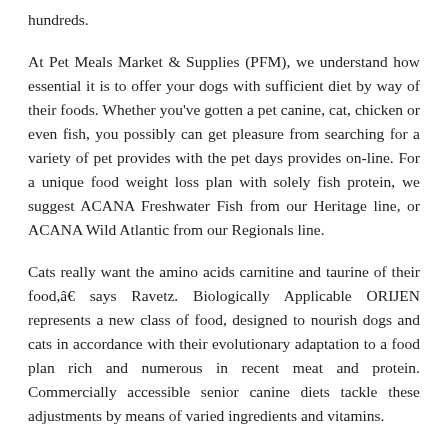hundreds.
At Pet Meals Market & Supplies (PFM), we understand how essential it is to offer your dogs with sufficient diet by way of their foods. Whether you've gotten a pet canine, cat, chicken or even fish, you possibly can get pleasure from searching for a variety of pet provides with the pet days provides on-line. For a unique food weight loss plan with solely fish protein, we suggest ACANA Freshwater Fish from our Heritage line, or ACANA Wild Atlantic from our Regionals line.
Cats really want the amino acids carnitine and taurine of their food,â€ says Ravetz. Biologically Applicable ORIJEN represents a new class of food, designed to nourish dogs and cats in accordance with their evolutionary adaptation to a food plan rich and numerous in recent meat and protein. Commercially accessible senior canine diets tackle these adjustments by means of varied ingredients and vitamins.
As long as your canine is getting a crunchy dental deal with [TOP] day, a diet of largely moist meals is fine, especially if your canine's appetite is slightly off. Within the article, it stated that since millennials love